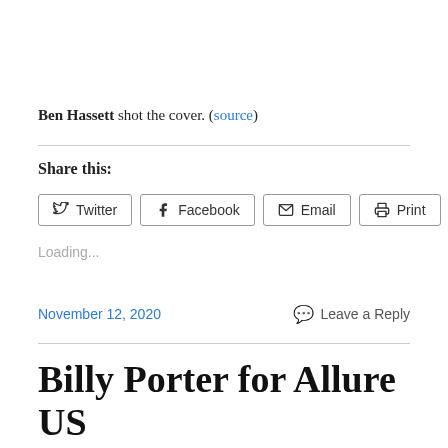Ben Hassett shot the cover. (source)
Share this:
Twitter  Facebook  Email  Print
Loading...
November 12, 2020   Leave a Reply
Billy Porter for Allure US